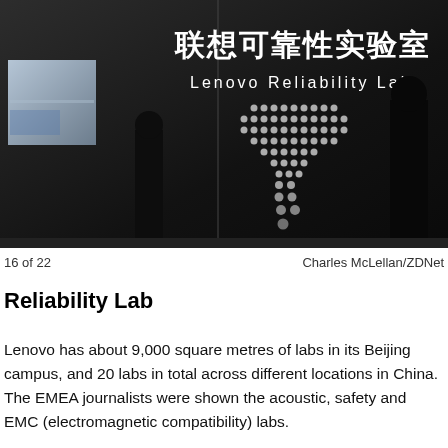[Figure (photo): Photo of the Lenovo Reliability Lab sign inside a dark room, showing Chinese characters '联想可靠性实验室' and English text 'Lenovo Reliability Lab' with a dot-matrix map pattern below, and silhouettes of people visible in the background.]
16 of 22            Charles McLellan/ZDNet
Reliability Lab
Lenovo has about 9,000 square metres of labs in its Beijing campus, and 20 labs in total across different locations in China. The EMEA journalists were shown the acoustic, safety and EMC (electromagnetic compatibility) labs.